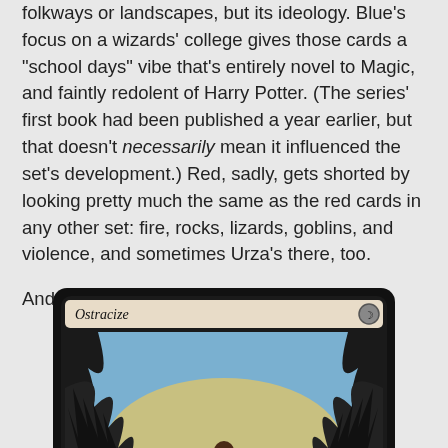folkways or landscapes, but its ideology. Blue's focus on a wizards' college gives those cards a "school days" vibe that's entirely novel to Magic, and faintly redolent of Harry Potter. (The series' first book had been published a year earlier, but that doesn't necessarily mean it influenced the set's development.) Red, sadly, gets shorted by looking pretty much the same as the red cards in any other set: fire, rocks, lizards, goblins, and violence, and sometimes Urza's there, too.
And black...we'll talk about that in a bit.
[Figure (photo): Magic: The Gathering card named 'Ostracize' showing a dark fantasy scene with a figure standing before a gate, surrounded by thorny dark trees, with a pale hill in the background. The card has a black border with a dark red and earthy color scheme.]